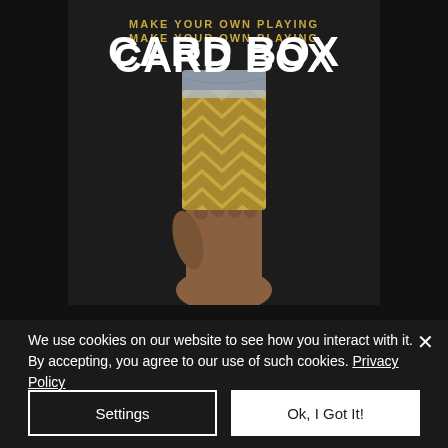[Figure (photo): Dark background image with a hand holding a gold chevron-patterned playing card box. Title text overlaid reads 'MAKE YOUR OWN PLAYING CARD BOX' in white and gold/yellow typography.]
MAKE YOUR OWN PLAYING CARD BOX
We use cookies on our website to see how you interact with it. By accepting, you agree to our use of such cookies. Privacy Policy
Settings
Ok, I Got It!